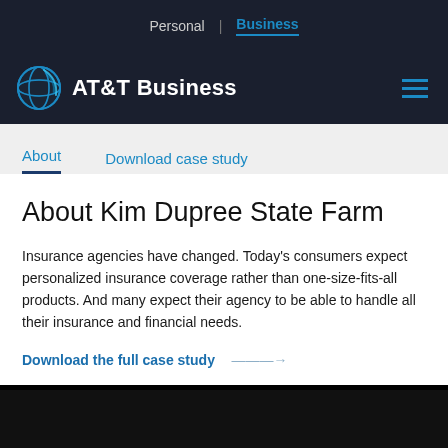Personal | Business
[Figure (logo): AT&T Business logo with globe icon]
About | Download case study
About Kim Dupree State Farm
Insurance agencies have changed. Today's consumers expect personalized insurance coverage rather than one-size-fits-all products. And many expect their agency to be able to handle all their insurance and financial needs.
Download the full case study →